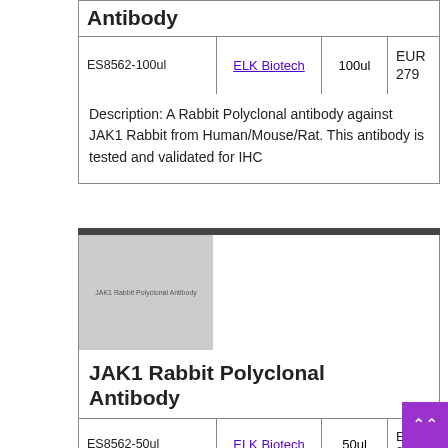Antibody
| Catalog | Brand | Size | Price |
| --- | --- | --- | --- |
| ES8562-100ul | ELK Biotech | 100ul | EUR 279 |
Description: A Rabbit Polyclonal antibody against JAK1 Rabbit from Human/Mouse/Rat. This antibody is tested and validated for IHC
[Figure (photo): Product image placeholder for JAK1 Rabbit Polyclonal Antibody, grey box with label text]
JAK1 Rabbit Polyclonal Antibody
| Catalog | Brand | Size | Price |
| --- | --- | --- | --- |
| ES8562-50ul | ELK Biotech | 50ul | EUR 207 |